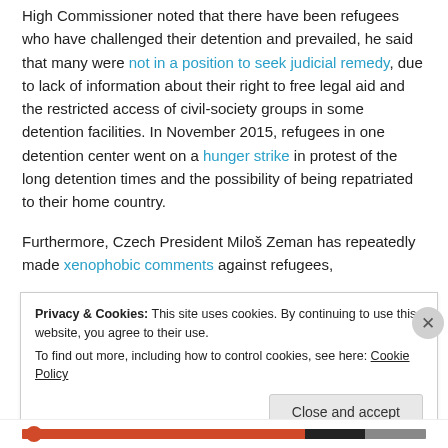High Commissioner noted that there have been refugees who have challenged their detention and prevailed, he said that many were not in a position to seek judicial remedy, due to lack of information about their right to free legal aid and the restricted access of civil-society groups in some detention facilities. In November 2015, refugees in one detention center went on a hunger strike in protest of the long detention times and the possibility of being repatriated to their home country.
Furthermore, Czech President Miloš Zeman has repeatedly made xenophobic comments against refugees,
Privacy & Cookies: This site uses cookies. By continuing to use this website, you agree to their use.
To find out more, including how to control cookies, see here: Cookie Policy